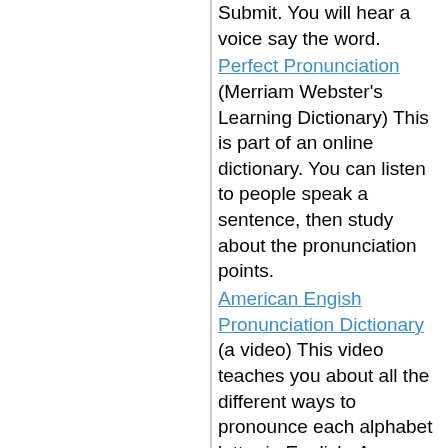Submit. You will hear a voice say the word.
Perfect Pronunciation (Merriam Webster's Learning Dictionary) This is part of an online dictionary. You can listen to people speak a sentence, then study about the pronunciation points.
American Engish Pronunciation Dictionary (a video) This video teaches you about all the different ways to pronounce each alphabet letter in English. A woman explains how you move your mouth, tongue, lips and throat, and